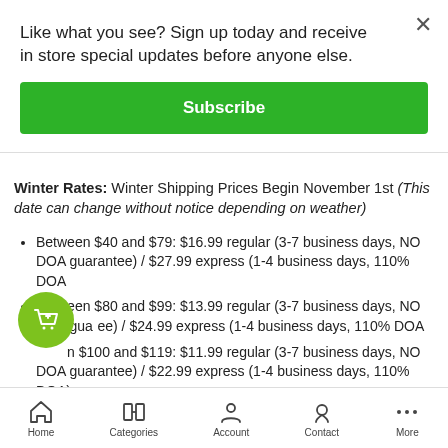Like what you see? Sign up today and receive in store special updates before anyone else.
Subscribe
Winter Rates: Winter Shipping Prices Begin November 1st (This date can change without notice depending on weather)
Between $40 and $79: $16.99 regular (3-7 business days, NO DOA guarantee) / $27.99 express (1-4 business days, 110% DOA
Between $80 and $99: $13.99 regular (3-7 business days, NO DOA guarantee) / $24.99 express (1-4 business days, 110% DOA
Between $100 and $119: $11.99 regular (3-7 business days, NO DOA guarantee) / $22.99 express (1-4 business days, 110% DOA)
Over $120: shipping is FREE regular (3-7 business days, NO DOA guarantee) / $19.99 express (1-4 business days, 110% DOA)
Home  Categories  Account  Contact  More